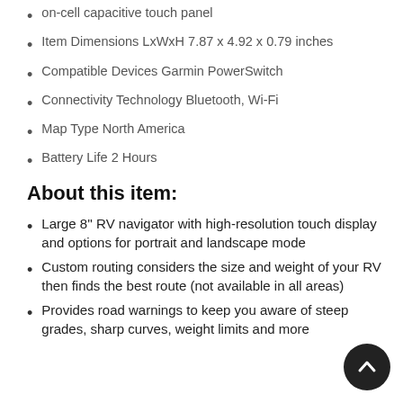on-cell capacitive touch panel
Item Dimensions LxWxH 7.87 x 4.92 x 0.79 inches
Compatible Devices Garmin PowerSwitch
Connectivity Technology Bluetooth, Wi-Fi
Map Type North America
Battery Life 2 Hours
About this item:
Large 8'' RV navigator with high-resolution touch display and options for portrait and landscape mode
Custom routing considers the size and weight of your RV then finds the best route (not available in all areas)
Provides road warnings to keep you aware of steep grades, sharp curves, weight limits and more